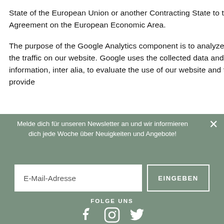State of the European Union or another Contracting State to the Agreement on the European Economic Area.
The purpose of the Google Analytics component is to analyze the traffic on our website. Google uses the collected data and information, inter alia, to evaluate the use of our website and to provide
Melde dich für unseren Newsletter an und wir informieren dich jede Woche über Neuigkeiten und Angebote!
E-Mail-Adresse
EINGEBEN
FOLGE UNS